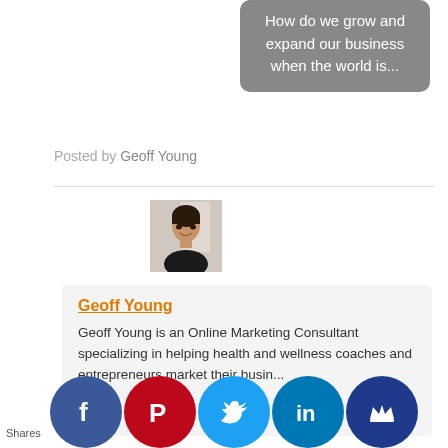[Figure (screenshot): Gray card snippet showing partial text: How do we grow and expand our business when the world is...]
Posted by Geoff Young
[Figure (photo): Headshot photo of Geoff Young, a man in a dark jacket, smiling, against a light background]
Geoff Young
Geoff Young is an Online Marketing Consultant specializing in helping health and wellness coaches and entrepreneurs market their busi...
Shares
[Figure (infographic): Social media share buttons: Facebook (blue), Pinterest (red), Twitter (light blue), LinkedIn (dark blue), Crown icon (dark blue)]